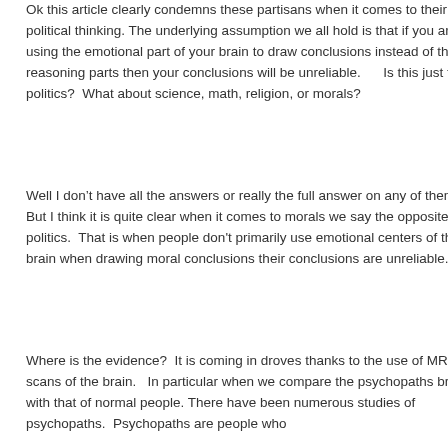Ok this article clearly condemns these partisans when it comes to their political thinking.  The underlying assumption we all hold is that if you are using the emotional part of your brain to draw conclusions instead of the reasoning parts then your conclusions will be unreliable.      Is this just for politics?  What about science, math, religion, or morals?
Well I don't have all the answers or really the full answer on any of them.  But I think it is quite clear when it comes to morals we say the opposite of politics.  That is when people don't primarily use emotional centers of the brain when drawing moral conclusions their conclusions are unreliable.
Where is the evidence?  It is coming in droves thanks to the use of MRI scans of the brain.   In particular when we compare the psychopaths brain with that of normal people. There have been numerous studies of psychopaths.  Psychopaths are people who